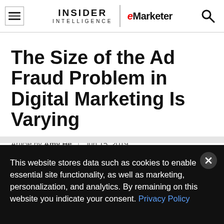INSIDER INTELLIGENCE | eMarketer
The Size of the Ad Fraud Problem in Digital Marketing Is Varying
Article by Amy He | Jun 15, 2019
This website stores data such as cookies to enable essential site functionality, as well as marketing, personalization, and analytics. By remaining on this website you indicate your consent. Privacy Policy